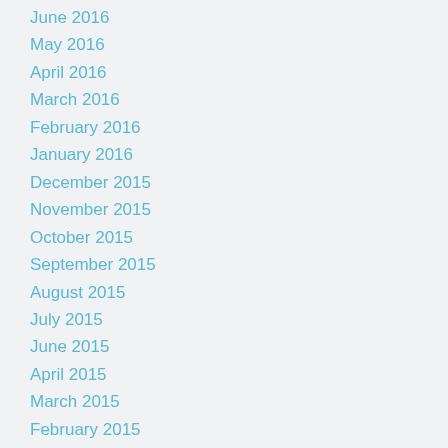June 2016
May 2016
April 2016
March 2016
February 2016
January 2016
December 2015
November 2015
October 2015
September 2015
August 2015
July 2015
June 2015
April 2015
March 2015
February 2015
January 2015
December 2014
November 2014
October 2014
September 2014
August 2014
July 2014